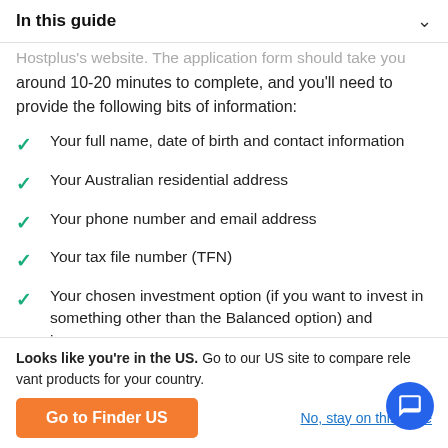In this guide
...Hostplus's website. The application form should take you around 10-20 minutes to complete, and you'll need to provide the following bits of information:
Your full name, date of birth and contact information
Your Australian residential address
Your phone number and email address
Your tax file number (TFN)
Your chosen investment option (if you want to invest in something other than the Balanced option) and insurance cover
Details of your existing super fund if you'd like to consolidate your super
Looks like you're in the US. Go to our US site to compare relevant products for your country.
Go to Finder US
No, stay on this page